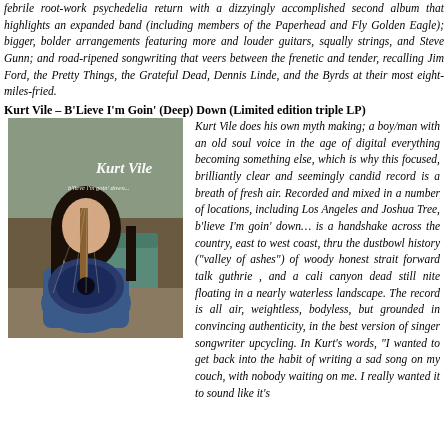febrile root-work psychedelia return with a dizzyingly accomplished second album that highlights an expanded band (including members of the Paperhead and Fly Golden Eagle); bigger, bolder arrangements featuring more and louder guitars, squally strings, and Steve Gunn; and road-ripened songwriting that veers between the frenetic and tender, recalling Jim Ford, the Pretty Things, the Grateful Dead, Dennis Linde, and the Byrds at their most eight-miles-fried.
Kurt Vile – B'Lieve I'm Goin' (Deep) Down (Limited edition triple LP)
[Figure (photo): Album cover photo of Kurt Vile sitting with a guitar, long dark hair, wearing a denim jacket, with 'Kurt Vile' text overlaid on the image]
Kurt Vile does his own myth making; a boy/man with an old soul voice in the age of digital everything becoming something else, which is why this focused, brilliantly clear and seemingly candid record is a breath of fresh air. Recorded and mixed in a number of locations, including Los Angeles and Joshua Tree, b'lieve I'm goin' down… is a handshake across the country, east to west coast, thru the dustbowl history ("valley of ashes") of woody honest strait forward talk guthrie , and a cali canyon dead still nite floating in a nearly waterless landscape. The record is all air, weightless, bodyless, but grounded in convincing authenticity, in the best version of singer songwriter upcycling. In Kurt's words, "I wanted to get back into the habit of writing a sad song on my couch, with nobody waiting on me. I really wanted it to sound like it's